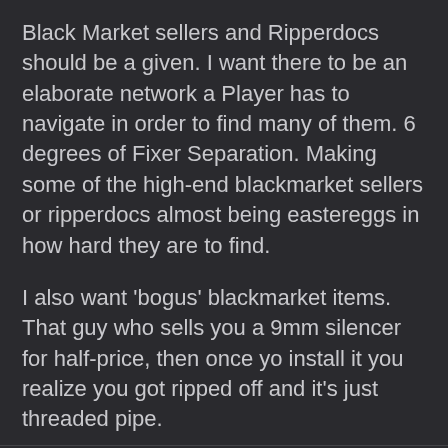Black Market sellers and Ripperdocs should be a given. I want there to be an elaborate network a Player has to navigate in order to find many of them. 6 degrees of Fixer Separation. Making some of the high-end blackmarket sellers or ripperdocs almost being eastereggs in how hard they are to find.
I also want 'bogus' blackmarket items. That guy who sells you a 9mm silencer for half-price, then once yo install it you realize you got ripped off and it's just threaded pipe.
kilravok  Rookie    ↑3  Jan 18, 2013  ↓